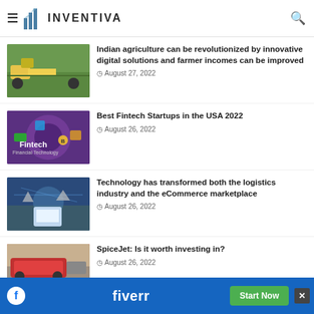INVENTIVA
Indian agriculture can be revolutionized by innovative digital solutions and farmer incomes can be improved
August 27, 2022
Best Fintech Startups in the USA 2022
August 26, 2022
Technology has transformed both the logistics industry and the eCommerce marketplace
August 26, 2022
SpiceJet: Is it worth investing in?
August 26, 2022
[Figure (photo): Advertisement banner for Fiverr with blue background and green Start Now button]